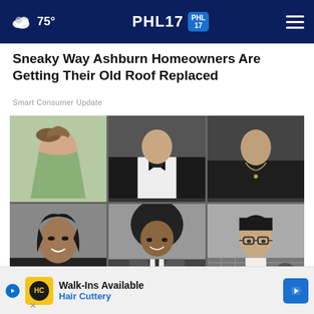75° PHL17 PHL17
Sneaky Way Ashburn Homeowners Are Getting Their Old Roof Replaced
Smart Consumer Update
[Figure (photo): Grid of six black and white yearbook-style portrait photos: top row shows a girl in green sweater, a man in tuxedo with bow tie, a person in dark top with necklace; bottom row shows a smiling woman, a man with afro, and a man with glasses]
Loo
[Figure (other): Advertisement banner for Hair Cuttery: Walk-Ins Available, Hair Cuttery, with HC logo on yellow background and blue arrow navigation icon]